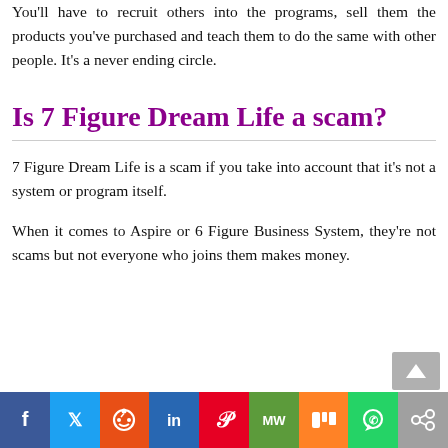You'll have to recruit others into the programs, sell them the products you've purchased and teach them to do the same with other people. It's a never ending circle.
Is 7 Figure Dream Life a scam?
7 Figure Dream Life is a scam if you take into account that it's not a system or program itself.
When it comes to Aspire or 6 Figure Business System, they're not scams but not everyone who joins them makes money.